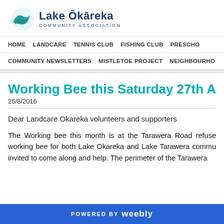[Figure (logo): Lake Okareka Community Association logo with teal/green leaf/wave icon and dark blue text]
HOME    LANDCARE    TENNIS CLUB    FISHING CLUB    PRESCO    COMMUNITY NEWSLETTERS    MISTLETOE PROJECT    NEIGHBOURHO
Working Bee this Saturday 27th August
25/8/2016
Dear Landcare Okareka volunteers and supporters
The Working bee this month is at the Tarawera Road refuse working bee for both Lake Okareka and Lake Tarawera commu invited to come along and help. The perimeter of the Tawera
POWERED BY weebly